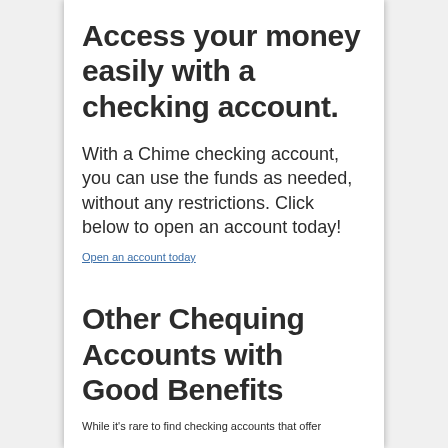Access your money easily with a checking account.
With a Chime checking account, you can use the funds as needed, without any restrictions. Click below to open an account today!
Open an account today
Other Chequing Accounts with Good Benefits
While it's rare to find checking accounts that offer